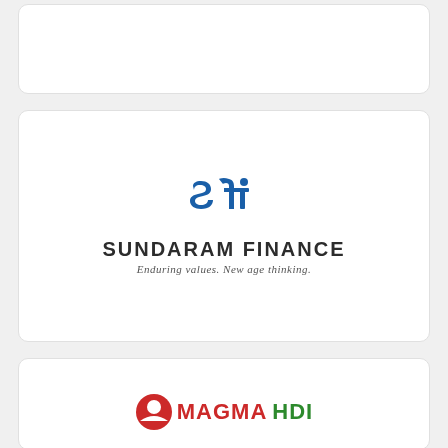[Figure (logo): Empty card / partially visible logo card at top]
[Figure (logo): Sundaram Finance logo with stylized 'sf' icon in blue, company name 'SUNDARAM FINANCE' in bold dark text, tagline 'Enduring values. New age thinking.' in italic gray text]
[Figure (logo): Magma HDI logo partially visible at bottom of page, with red circular icon and 'MAGMA HDI' text in green and red]